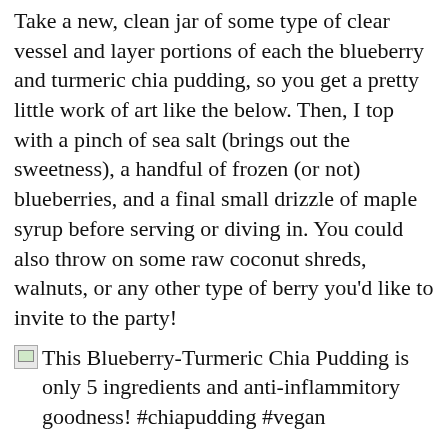Take a new, clean jar of some type of clear vessel and layer portions of each the blueberry and turmeric chia pudding, so you get a pretty little work of art like the below. Then, I top with a pinch of sea salt (brings out the sweetness), a handful of frozen (or not) blueberries, and a final small drizzle of maple syrup before serving or diving in. You could also throw on some raw coconut shreds, walnuts, or any other type of berry you'd like to invite to the party!
[Figure (photo): Broken image icon followed by caption: This Blueberry-Turmeric Chia Pudding is only 5 ingredients and anti-inflammitory goodness! #chiapudding #vegan]
That's it! 5 ingredients and only minutes of night-before prep to enjoy this delicious treat.
Do you all enjoy chia pudding? Have you made any before? If so, let me know what flavor combos you like below, so I can switch it up and try another variation!
Here's to pretty summertime treats that keep you